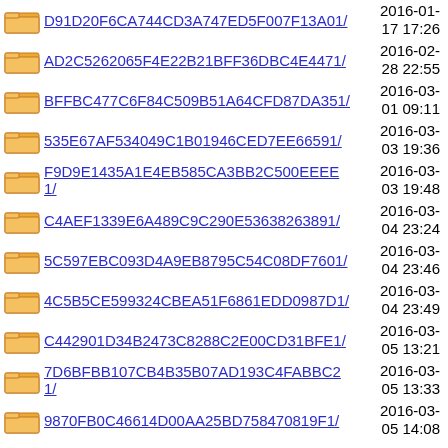D91D20F6CA744CD3A747ED5F007F13A01/ 2016-01-17 17:26
AD2C5262065F4E22B21BFF36DBC4E4471/ 2016-02-28 22:55
BFFBC477C6F84C509B51A64CFD87DA351/ 2016-03-01 09:11
535E67AF534049C1B01946CED7EE66591/ 2016-03-03 19:36
F9D9E1435A1E4EB585CA3BB2C500EEEE1/ 2016-03-03 19:48
C4AEF1339E6A489C9C290E53638263891/ 2016-03-04 23:24
5C597EBC093D4A9EB8795C54C08DF7601/ 2016-03-04 23:46
4C5B5CE599324CBEA51F6861EDD0987D1/ 2016-03-04 23:49
C442901D34B2473C8288C2E00CD31BFE1/ 2016-03-05 13:21
7D6BFBB107CB4B35B07AD193C4FABBC21/ 2016-03-05 13:33
9870FB0C46614D00AA25BD758470819F1/ 2016-03-05 14:08